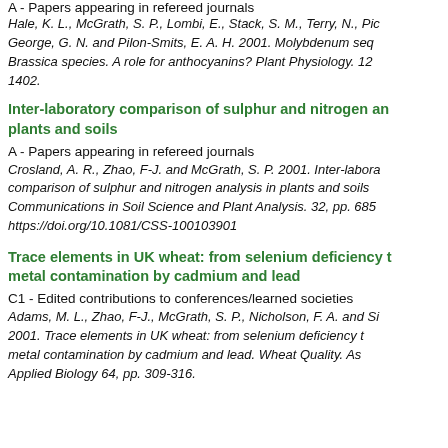A - Papers appearing in refereed journals
Hale, K. L., McGrath, S. P., Lombi, E., Stack, S. M., Terry, N., Pic...
George, G. N. and Pilon-Smits, E. A. H. 2001. Molybdenum seq...
Brassica species. A role for anthocyanins? Plant Physiology. 12...
1402.
Inter-laboratory comparison of sulphur and nitrogen an... plants and soils
A - Papers appearing in refereed journals
Crosland, A. R., Zhao, F-J. and McGrath, S. P. 2001. Inter-labora... comparison of sulphur and nitrogen analysis in plants and soils... Communications in Soil Science and Plant Analysis. 32, pp. 685... https://doi.org/10.1081/CSS-100103901
Trace elements in UK wheat: from selenium deficiency t... metal contamination by cadmium and lead
C1 - Edited contributions to conferences/learned societies
Adams, M. L., Zhao, F-J., McGrath, S. P., Nicholson, F. A. and Si... 2001. Trace elements in UK wheat: from selenium deficiency t... metal contamination by cadmium and lead. Wheat Quality. As... Applied Biology 64, pp. 309-316.